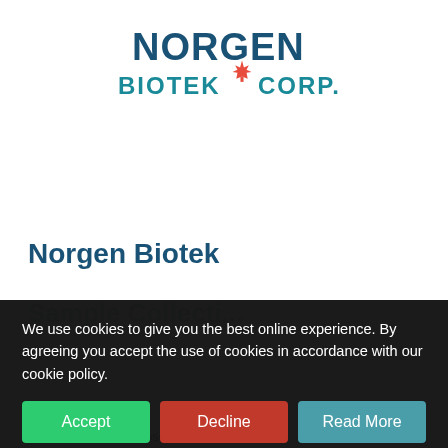[Figure (logo): Norgen Biotek Corp. logo with dark teal NORGEN text, teal BIOTEK text, red maple leaf, and teal CORP. text]
Norgen Biotek
Sample Collection
We use cookies to give you the best online experience. By agreeing you accept the use of cookies in accordance with our cookie policy.
Accept | Decline | Read More
RNA, protein and exosome isolation and